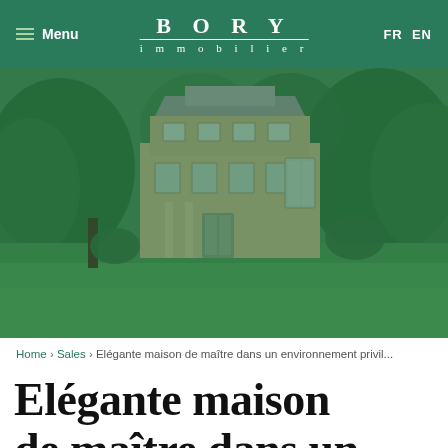Menu | BORY immobilier | FR EN
[Figure (photo): Elegant manor house (maison de maître) surrounded by large green trees and a wide lawn, with a green color overlay tint. The building is multi-story with classical architecture, white/beige stone facade, multiple windows.]
Home › Sales › Elégante maison de maître dans un environnement privil...
Elégante maison de maître dans un